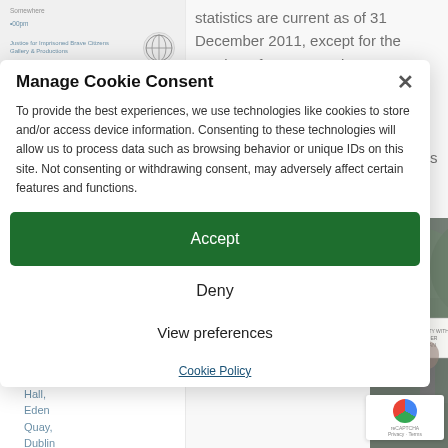statistics are current as of 31 December 2011, except for the number of women and PLC members, which are current as of 15 January 2012 and based on Addameer's own documentation. Arrest statistics are based on figures from the Palestinian Monitoring Group and are current as of 31 December 2011.
[Figure (photo): Crowd of protesters with flags, appears to be a political demonstration]
[Dublin] Lajee Cultural Tour – Concert Wed, 14 September 2022, 8:00PM (Liberty Hall, Eden Quay, Dublin 1)
[Figure (photo): Protest scene with people holding signs reading 'Solidarity with Khader Adnan']
Manage Cookie Consent

To provide the best experiences, we use technologies like cookies to store and/or access device information. Consenting to these technologies will allow us to process data such as browsing behavior or unique IDs on this site. Not consenting or withdrawing consent, may adversely affect certain features and functions.
Accept
Deny
View preferences
Cookie Policy